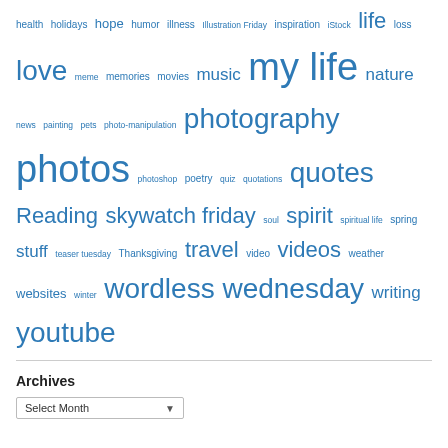health holidays hope humor illness Illustration Friday inspiration iStock life loss love meme memories movies music my life nature news painting pets photo-manipulation photography photos photoshop poetry quiz quotations quotes Reading skywatch friday soul spirit spiritual life spring stuff teaser tuesday Thanksgiving travel video videos weather websites winter wordless wednesday writing youtube
Archives
Select Month